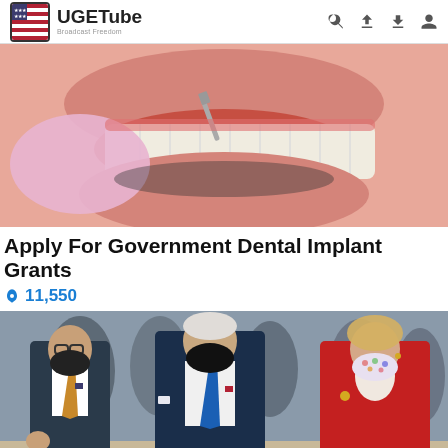UGETube — Broadcast Freedom
[Figure (photo): Close-up photo of a dental examination, gloved hands holding a dental tool near white teeth]
Apply For Government Dental Implant Grants
🔥 11,550
[Figure (photo): Photo of political figures including two men and a woman in formal attire wearing black face masks, walking together]